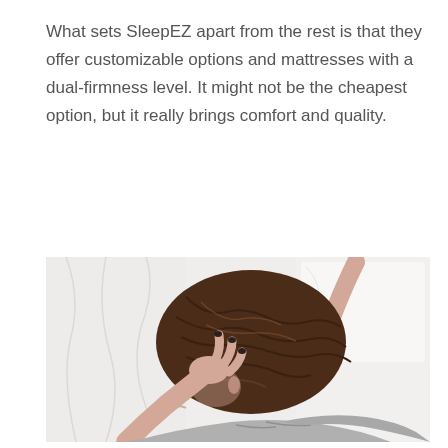What sets SleepEZ apart from the rest is that they offer customizable options and mattresses with a dual-firmness level. It might not be the cheapest option, but it really brings comfort and quality.
[Figure (photo): Overhead view of a woman with long brown hair lying face-down on a white bed, wearing a grey t-shirt, with both arms extended outward and dark-painted fingernails visible.]